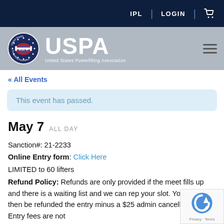IPL | LOGIN
[Figure (logo): USPA United States Powerlifting Association logo with circular emblem]
« All Events
This event has passed.
May 7  ALL DAY
Sanction#: 21-2233
Online Entry form: Click Here
LIMITED to 60 lifters
Refund Policy: Refunds are only provided if the meet fills up and there is a waiting list and we can rep your slot. You would then be refunded the entry minus a $25 admin cancellation fee. Entry fees are not